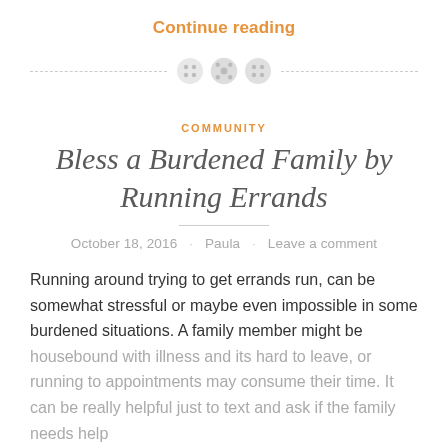Continue reading
[Figure (illustration): Three decorative button icons on a dashed horizontal divider line]
COMMUNITY
Bless a Burdened Family by Running Errands
October 18, 2016 · Paula · Leave a comment
Running around trying to get errands run, can be somewhat stressful or maybe even impossible in some burdened situations. A family member might be housebound with illness and its hard to leave, or running to appointments may consume their time. It can be really helpful just to text and ask if the family needs help